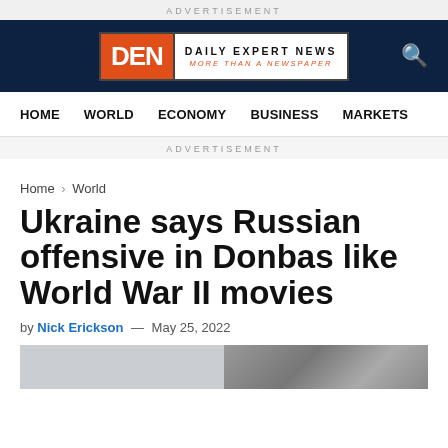ADVERTISEMENT
[Figure (logo): DEN Daily Expert News logo with orange DEN block and tagline MORE THAN A NEWSPAPER]
HOME   WORLD   ECONOMY   BUSINESS   MARKETS
ADVERTISEMENT
Home > World
Ukraine says Russian offensive in Donbas like World War II movies
by Nick Erickson — May 25, 2022
[Figure (photo): Partial article header image showing landscape/war scene]